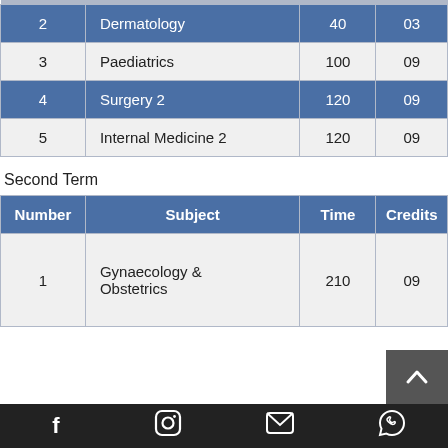| Number | Subject | Time | Credits |
| --- | --- | --- | --- |
| 2 | Dermatology | 40 | 03 |
| 3 | Paediatrics | 100 | 09 |
| 4 | Surgery 2 | 120 | 09 |
| 5 | Internal Medicine 2 | 120 | 09 |
Second Term
| Number | Subject | Time | Credits |
| --- | --- | --- | --- |
| 1 | Gynaecology & Obstetrics | 210 | 09 |